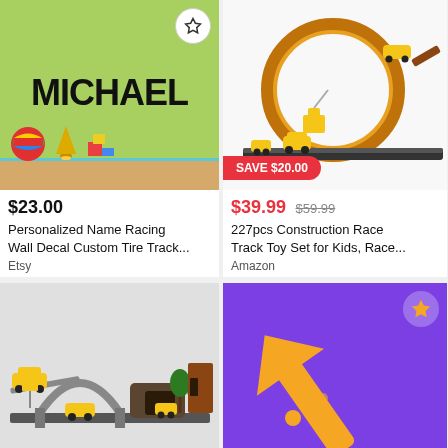[Figure (photo): Personalized name 'MICHAEL' wall decal on green background with toys on wooden floor]
[Figure (photo): 227pcs Construction Race Track Toy Set with looping track and yellow construction vehicles, with SAVE $20.00 badge]
$23.00
Personalized Name Racing Wall Decal Custom Tire Track...
Etsy
$39.99  $59.99
227pcs Construction Race Track Toy Set for Kids, Race...
Amazon
[Figure (photo): Yellow construction toy vehicles on a large race track set with bridge and tunnel]
[Figure (illustration): Purple background with golden arrow and star badge icon]